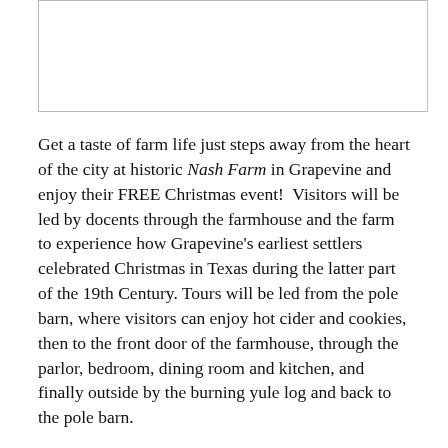[Figure (photo): Partially visible image placeholder box at top of page]
Get a taste of farm life just steps away from the heart of the city at historic Nash Farm in Grapevine and enjoy their FREE Christmas event!  Visitors will be led by docents through the farmhouse and the farm to experience how Grapevine's earliest settlers celebrated Christmas in Texas during the latter part of the 19th Century. Tours will be led from the pole barn, where visitors can enjoy hot cider and cookies, then to the front door of the farmhouse, through the parlor, bedroom, dining room and kitchen, and finally outside by the burning yule log and back to the pole barn.